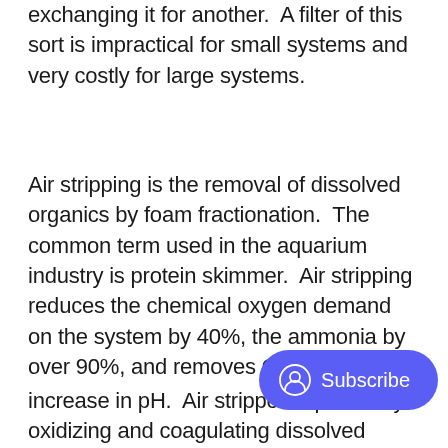exchanging it for another. A filter of this sort is impractical for small systems and very costly for large systems.
Air stripping is the removal of dissolved organics by foam fractionation. The common term used in the aquarium industry is protein skimmer. Air stripping reduces the chemical oxygen demand on the system by 40%, the ammonia by over 90%, and removes CO₂ causing an increase in pH. Air strippers operate by oxidizing and coagulating dissolved organics. As mentioned earlier some organics have a tendency to come out of solution to form a film around the surface of a bubble. The bubbles rising to the top of the s[kimmer] accumulate as froth and are separ[ated from the] system in an upper chamber. Efficiency is